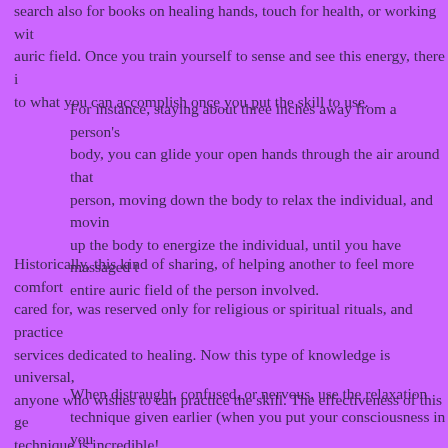search also for books on healing hands, touch for health, or working with auric field. Once you train yourself to sense and see this energy, there is to what you can accomplish once you put the skill to use.
For instance, staying about three inches away from a person's body, you can glide your open hands through the air around that person, moving down the body to relax the individual, and moving up the body to energize the individual, until you have massaged the entire auric field of the person involved.
Historically, this kind of sharing, of helping another to feel more comfortable, cared for, was reserved only for religious or spiritual rituals, and practice services dedicated to healing. Now this type of knowledge is universal, anyone who wishes to can practice the skill. The effectiveness of this gentle technique is incredible!
When distraught, confused, or nervous, use the relaxation technique given earlier (when you put your consciousness in your center). This time, once you have aligned yourself with your center, remain there for awhile, affirming and knowing that Divine Order...